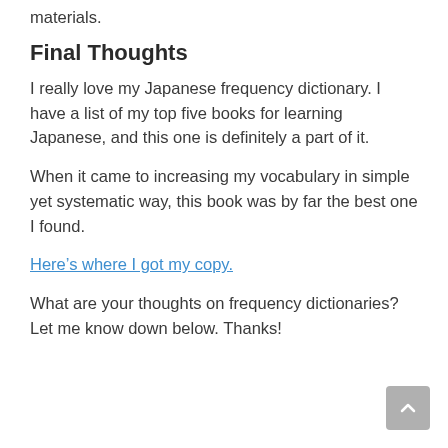materials.
Final Thoughts
I really love my Japanese frequency dictionary. I have a list of my top five books for learning Japanese, and this one is definitely a part of it.
When it came to increasing my vocabulary in simple yet systematic way, this book was by far the best one I found.
Here’s where I got my copy.
What are your thoughts on frequency dictionaries? Let me know down below. Thanks!